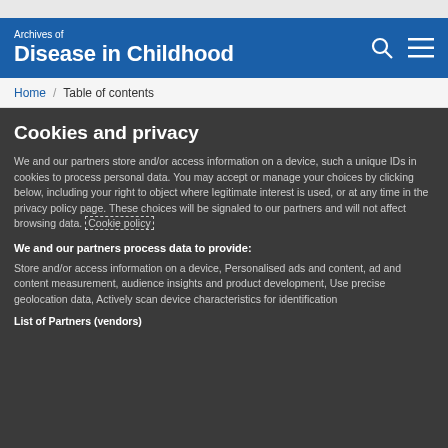Archives of Disease in Childhood
Home / Table of contents
Cookies and privacy
We and our partners store and/or access information on a device, such a unique IDs in cookies to process personal data. You may accept or manage your choices by clicking below, including your right to object where legitimate interest is used, or at any time in the privacy policy page. These choices will be signaled to our partners and will not affect browsing data. Cookie policy
We and our partners process data to provide:
Store and/or access information on a device, Personalised ads and content, ad and content measurement, audience insights and product development, Use precise geolocation data, Actively scan device characteristics for identification
List of Partners (vendors)